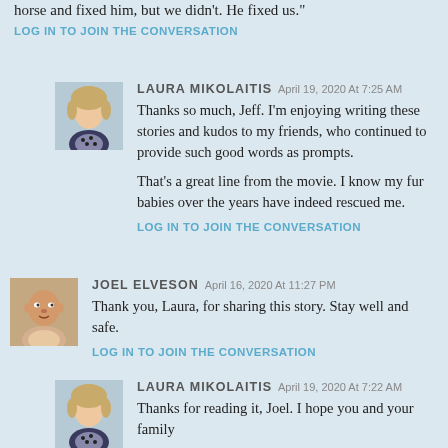horse and fixed him, but we didn't. He fixed us."
LOG IN TO JOIN THE CONVERSATION
LAURA MIKOLAITIS April 19, 2020 At 7:25 AM
Thanks so much, Jeff. I'm enjoying writing these stories and kudos to my friends, who continued to provide such good words as prompts.

That's a great line from the movie. I know my fur babies over the years have indeed rescued me.
LOG IN TO JOIN THE CONVERSATION
JOEL ELVESON April 16, 2020 At 11:27 PM
Thank you, Laura, for sharing this story. Stay well and safe.
LOG IN TO JOIN THE CONVERSATION
LAURA MIKOLAITIS April 19, 2020 At 7:22 AM
Thanks for reading it, Joel. I hope you and your family